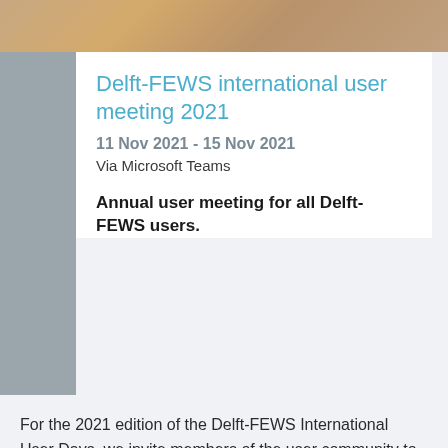[Figure (photo): Partial photo strip at top of page showing a person, cropped]
Delft-FEWS international user meeting 2021
11 Nov 2021  - 15 Nov 2021
Via Microsoft Teams
Annual user meeting for all Delft-FEWS users.
For the 2021 edition of the Delft-FEWS International User Days, we invite members of the user community to share their